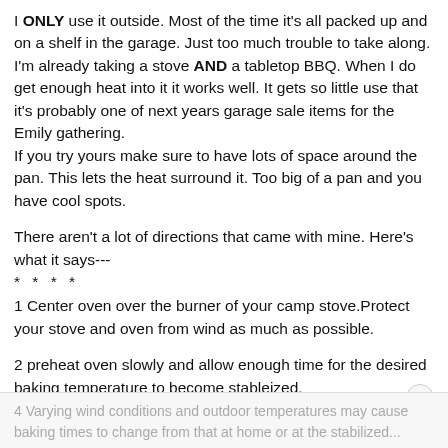I ONLY use it outside. Most of the time it's all packed up and on a shelf in the garage. Just too much trouble to take along. I'm already taking a stove AND a tabletop BBQ. When I do get enough heat into it it works well. It gets so little use that it's probably one of next years garage sale items for the Emily gathering.
If you try yours make sure to have lots of space around the pan. This lets the heat surround it. Too big of a pan and you have cool spots.
There aren't a lot of directions that came with mine. Here's what it says---
* * * *
1 Center oven over the burner of your camp stove.Protect your stove and oven from wind as much as possible.
2 preheat oven slowly and allow enough time for the desired baking temperature to become stableized.
3 Place pans or other materials, such as potatoes, in the center position of the oven. Do not use pans larger than 8 inches square or 8 inches in diameter.
4 Varying wind conditions and outdoor temperatures may cause baking times to change from that at home or at the stabilized...